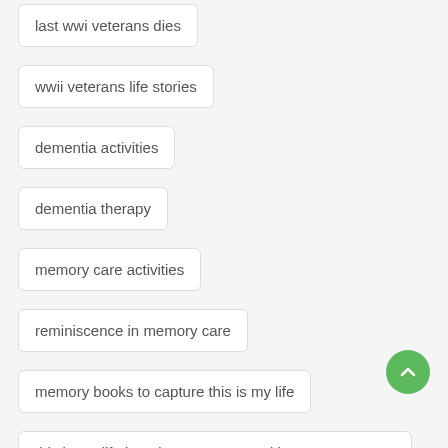last wwi veterans dies
wwii veterans life stories
dementia activities
dementia therapy
memory care activities
reminiscence in memory care
memory books to capture this is my life
this is my life in retirement communities
how do I tell my grandma's life story?